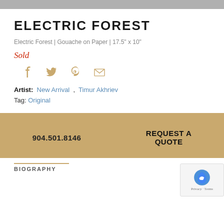ELECTRIC FOREST
Electric Forest | Gouache on Paper | 17.5" x 10"
Sold
[Figure (other): Social sharing icons: Facebook, Twitter, Pinterest, Email]
Artist: New Arrival , Timur Akhriev
Tag: Original
904.501.8146
REQUEST A QUOTE
BIOGRAPHY